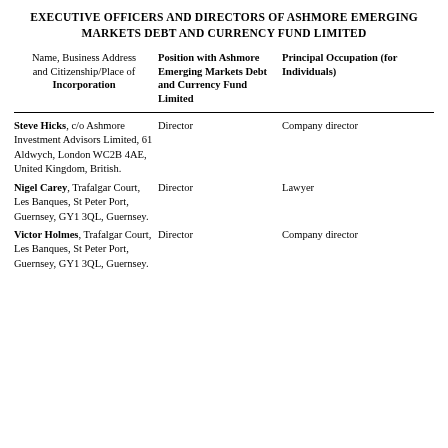EXECUTIVE OFFICERS AND DIRECTORS OF ASHMORE EMERGING MARKETS DEBT AND CURRENCY FUND LIMITED
| Name, Business Address and Citizenship/Place of Incorporation | Position with Ashmore Emerging Markets Debt and Currency Fund Limited | Principal Occupation (for Individuals) |
| --- | --- | --- |
| Steve Hicks, c/o Ashmore Investment Advisors Limited, 61 Aldwych, London WC2B 4AE, United Kingdom, British. | Director | Company director |
| Nigel Carey, Trafalgar Court, Les Banques, St Peter Port, Guernsey, GY1 3QL, Guernsey. | Director | Lawyer |
| Victor Holmes, Trafalgar Court, Les Banques, St Peter Port, Guernsey, GY1 3QL, Guernsey. | Director | Company director |